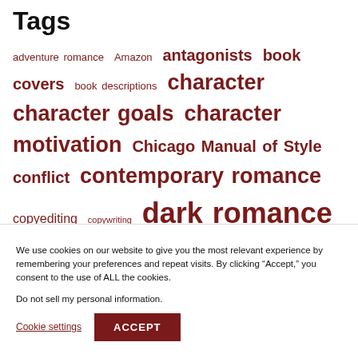Tags
adventure romance Amazon antagonists book covers book descriptions character character goals character motivation Chicago Manual of Style conflict contemporary romance copyediting copywriting dark romance dialogue editing external plot fantasy romance formatting genre graphic design historical romance horror romance inspirational
We use cookies on our website to give you the most relevant experience by remembering your preferences and repeat visits. By clicking “Accept,” you consent to the use of ALL the cookies.
Do not sell my personal information.
Cookie settings   ACCEPT